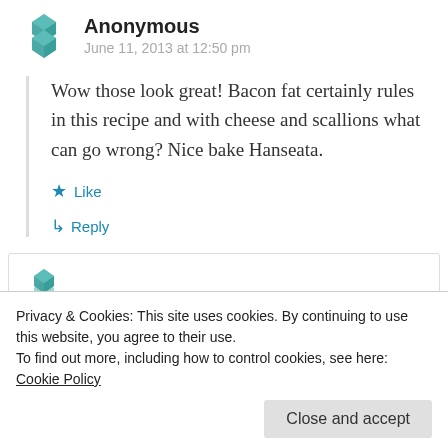Anonymous
June 11, 2013 at 12:50 pm
Wow those look great! Bacon fat certainly rules in this recipe and with cheese and scallions what can go wrong? Nice bake Hanseata.
Like
Reply
nice ingredients.
Privacy & Cookies: This site uses cookies. By continuing to use this website, you agree to their use. To find out more, including how to control cookies, see here: Cookie Policy
Close and accept